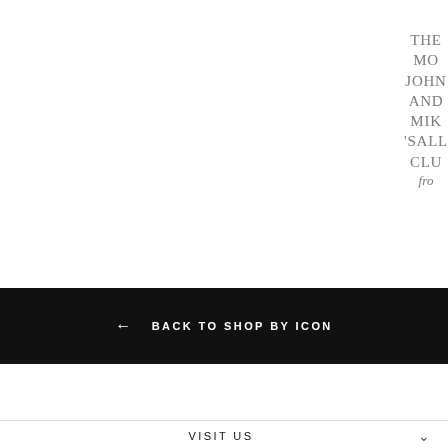THE
MO
JOHN
AND
MIK
'SALL
CLU
fro
← BACK TO SHOP BY ICON
VISIT US